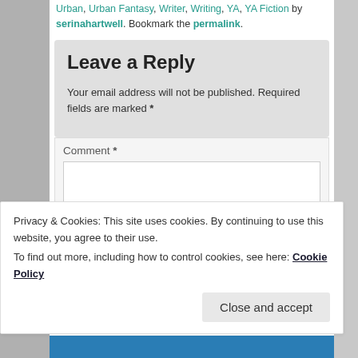Urban, Urban Fantasy, Writer, Writing, YA, YA Fiction by serinahartwell. Bookmark the permalink.
Leave a Reply
Your email address will not be published. Required fields are marked *
Comment *
Privacy & Cookies: This site uses cookies. By continuing to use this website, you agree to their use.
To find out more, including how to control cookies, see here: Cookie Policy